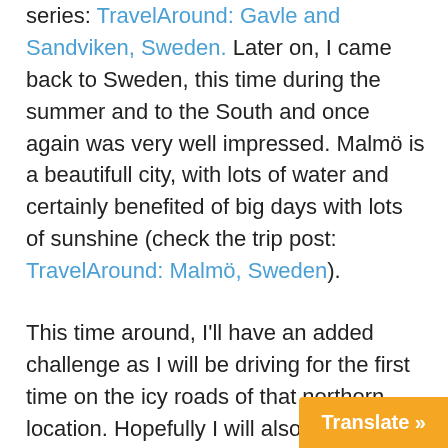series: TravelAround: Gavle and Sandviken, Sweden. Later on, I came back to Sweden, this time during the summer and to the South and once again was very well impressed. Malmö is a beautifull city, with lots of water and certainly benefited of big days with lots of sunshine (check the trip post: TravelAround: Malmö, Sweden).
This time around, I'll have an added challenge as I will be driving for the first time on the icy roads of that northern location. Hopefully I will also get to know a bit of Stockholm, the capital city. Can't wait to get there! 🙂